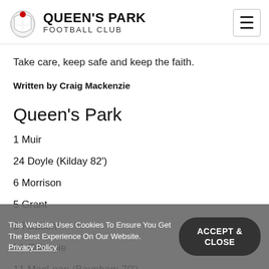QUEEN'S PARK FOOTBALL CLUB
Take care, keep safe and keep the faith.
Written by Craig Mackenzie
Queen's Park
1 Muir
24 Doyle (Kilday 82')
6 Morrison
5 Grant
3 Robson
21 Gillespie
11 MacLoan (Baynham 70')
This Website Uses Cookies To Ensure You Get The Best Experience On Our Website. Privacy Policy